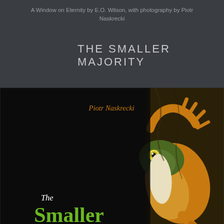A Window on Eternity by E.O. Wilson, with photography by Piotr Naskrecki
THE SMALLER MAJORITY
[Figure (photo): Book cover of 'The Smaller Majority' by Piotr Naskrecki. Dark background with a colorful frog (green and orange/yellow) climbing on a textured surface. Author name 'Piotr Naskrecki' in orange text at top. Book title 'The Smaller Majority' in green text at bottom left, with 'The' in smaller white italic text above it.]
The Smaller Majority